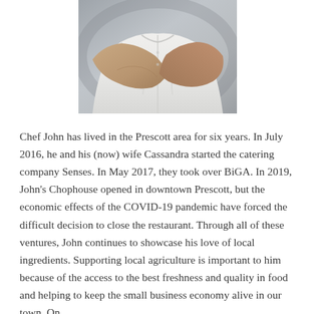[Figure (photo): Partial photo of a chef in white chef coat with arms crossed, cropped to show torso and arms against a grey background.]
Chef John has lived in the Prescott area for six years. In July 2016, he and his (now) wife Cassandra started the catering company Senses. In May 2017, they took over BiGA. In 2019, John's Chophouse opened in downtown Prescott, but the economic effects of the COVID-19 pandemic have forced the difficult decision to close the restaurant. Through all of these ventures, John continues to showcase his love of local ingredients. Supporting local agriculture is important to him because of the access to the best freshness and quality in food and helping to keep the small business economy alive in our town. On